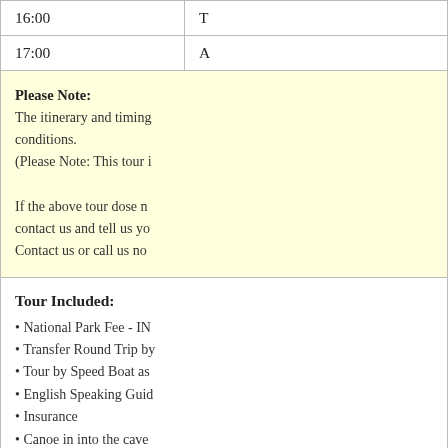| Time | Activity |
| --- | --- |
| 16:00 | T |
| 17:00 | A |
Please Note: The itinerary and timing conditions. (Please Note: This tour i If the above tour dose n contact us and tell us yo Contact us or call us no
Tour Included: • National Park Fee - IN • Transfer Round Trip by • Tour by Speed Boat as • English Speaking Guid • Insurance • Canoe in into the cave • Expert Paddle Guide i • Tax and Service Charg • Lunch & Seasoning Fr